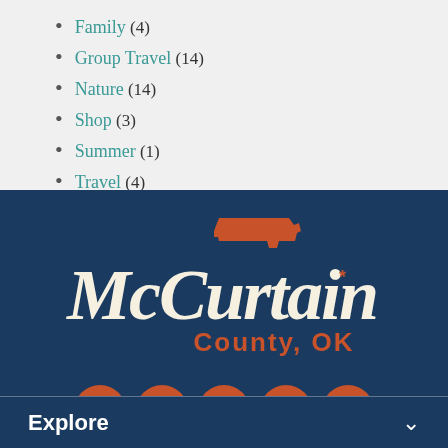Family (4)
Group Travel (14)
Nature (14)
Shop (3)
Summer (1)
Travel (4)
[Figure (logo): McCurtain County, OK logo with Oklahoma state silhouette in orange/rust color above stylized script text reading McCurtain with asterisk, and County, OK in burnt orange below, all on dark navy background]
[Figure (infographic): Five social media icon circles (Facebook, Twitter, Instagram, YouTube, Pinterest) in rust/orange color on dark navy background]
Explore